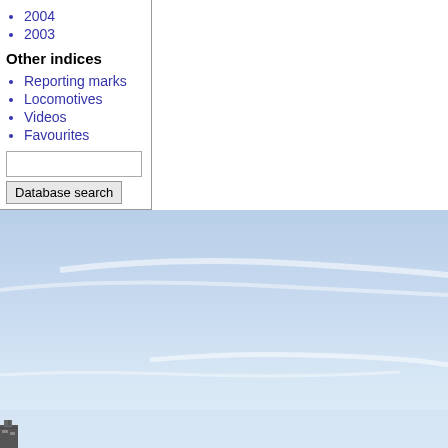2004
2003
Other indices
Reporting marks
Locomotives
Videos
Favourites
[Figure (photo): Sky photo showing light blue sky with thin wispy clouds and a small structure visible at the bottom left corner]